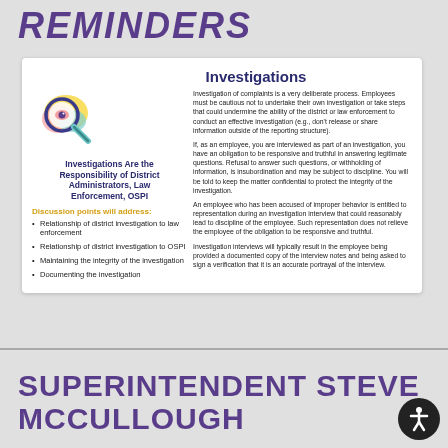REMINDERS
Investigations
Investigations Are the Responsibility of District Administrators, Law Enforcement, OSPI
Discussion points will address:
Relationship of district investigation to law enforcement
Relationship of district investigation to OSPI
Maintaining the integrity of the investigation
Documenting the investigation
Investigation of complaints is a very deliberate process. Employees must be cautious not to undertake their own investigation or take steps that could undermine the ability of the district or law enforcement to conduct an effective investigation (e.g., don't release or share information outside of the reporting structure).
If, as an employee, you are interviewed as part of an investigation, you have an obligation to be responsive and truthful in answering legitimate questions. Refusal to answer such questions, or withholding of information, is insubordination and may be subject to discipline. You will be told to keep the matter confidential to protect the integrity of the investigation.
An employee who has been accused of improper behavior is entitled to representation during an investigation interview that could reasonably lead to discipline of the employee. Such representation does not relieve the employee of the obligation to be responsive and truthful.
Investigation interviews will typically result in the employee being provided a documented copy of the interview notes and being asked to sign a verification that it is an accurate portrayal of the interview.
SUPERINTENDENT STEVE MCCULLOUGH